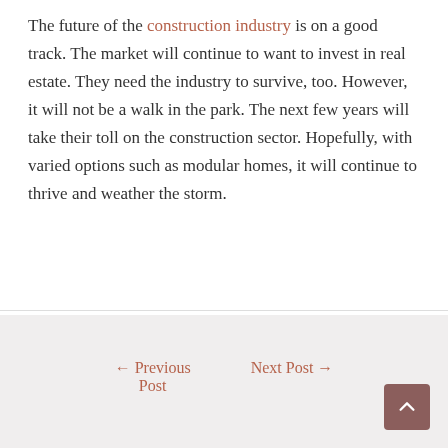The future of the construction industry is on a good track. The market will continue to want to invest in real estate. They need the industry to survive, too. However, it will not be a walk in the park. The next few years will take their toll on the construction sector. Hopefully, with varied options such as modular homes, it will continue to thrive and weather the storm.
← Previous Post    Next Post →